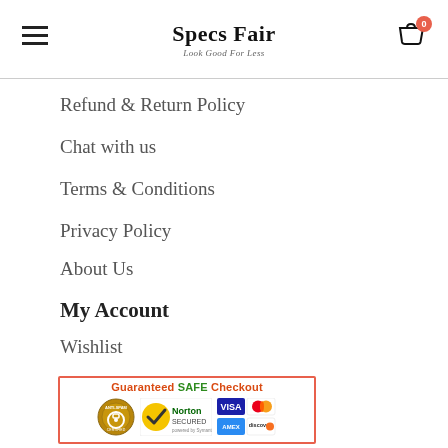Specs Fair — Look Good For Less
Refund & Return Policy
Chat with us
Terms & Conditions
Privacy Policy
About Us
My Account
Wishlist
View Cart
[Figure (infographic): Guaranteed SAFE Checkout badge with Norton Secured, Visa, Mastercard, American Express, and Discover logos]